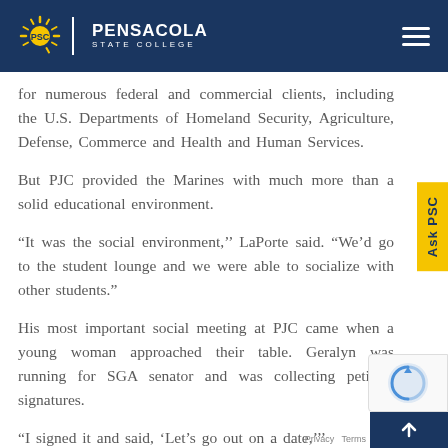[Figure (logo): Pensacola State College logo with PSC sunburst emblem, white divider, and text 'PENSACOLA STATE COLLEGE' on dark navy background, with hamburger menu icon on the right]
for numerous federal and commercial clients, including the U.S. Departments of Homeland Security, Agriculture, Defense, Commerce and Health and Human Services.
But PJC provided the Marines with much more than a solid educational environment.
“It was the social environment,’’ LaPorte said. “We’d go to the student lounge and we were able to socialize with other students.”
His most important social meeting at PJC came when a young woman approached their table. Geralyn was running for SGA senator and was collecting petition signatures.
“I signed it and said, ‘Let’s go out on a date,’’’